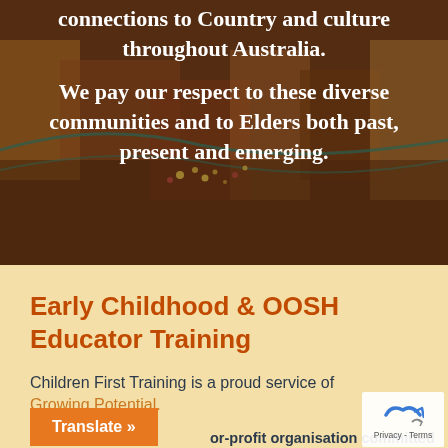[Figure (photo): Aboriginal dot art textile/painting with earthy tones of brown, orange, teal and red, used as background image. White bold text is overlaid.]
connections to Country and culture throughout Australia. We pay our respect to these diverse communities and to Elders both past, present and emerging.
Early Childhood & OOSH Educator Training
Children First Training is a proud service of Growing Potential.
or-profit organisation committed